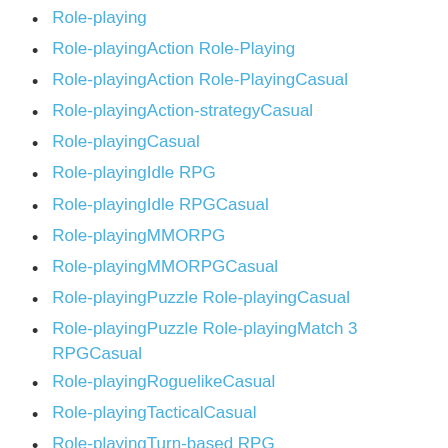Role-playing
Role-playingAction Role-Playing
Role-playingAction Role-PlayingCasual
Role-playingAction-strategyCasual
Role-playingCasual
Role-playingIdle RPG
Role-playingIdle RPGCasual
Role-playingMMORPG
Role-playingMMORPGCasual
Role-playingPuzzle Role-playingCasual
Role-playingPuzzle Role-playingMatch 3 RPGCasual
Role-playingRoguelikeCasual
Role-playingTacticalCasual
Role-playingTurn-based RPG
Role-playingTurn-based RPGCasual
Shopping